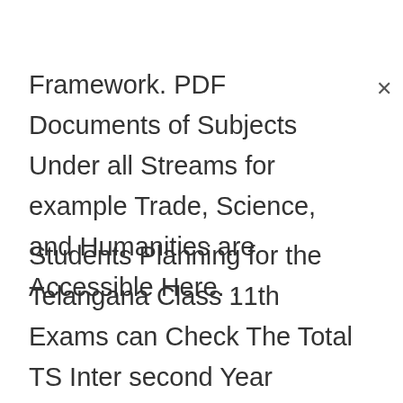Framework. PDF Documents of Subjects Under all Streams for example Trade, Science, and Humanities are Accessible Here. .
Students Planning for the Telangana Class 11th Exams can Check The Total TS Inter second Year Syllabus 2023 for Exam Arrangement. With the Assistance of Telangana 11th Syllabus 2023, Students can Undoubtedly Make an Investigation Arrangement for Themselves. They can